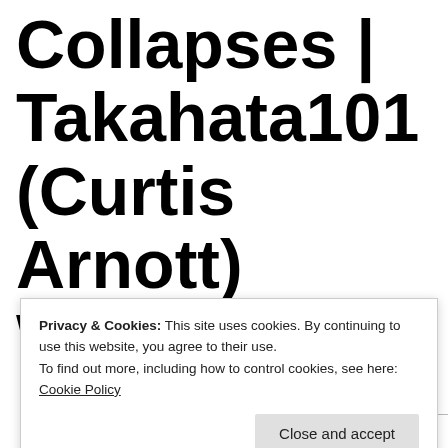Collapses | Takahata101 (Curtis Arnott) Wants To Burn
Privacy & Cookies: This site uses cookies. By continuing to use this website, you agree to their use.
To find out more, including how to control cookies, see here: Cookie Policy
Close and accept
Dark Mode: Off